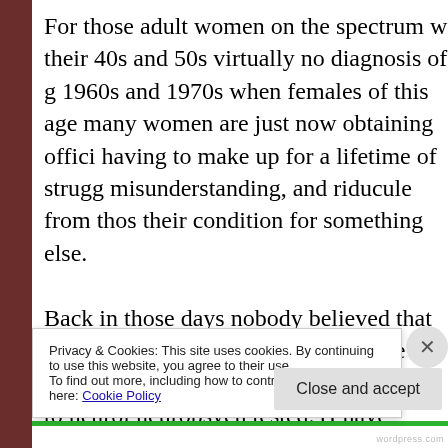For those adult women on the spectrum w their 40s and 50s virtually no diagnosis of g 1960s and 1970s when females of this age many women are just now obtaining offici having to make up for a lifetime of strugg misunderstanding, and riducule from thos their condition for something else.

Back in those days nobody believed that gi Autism, so other euphemisms were used in diagnosis when they were taken to neurol neuropsych tested. (I have miraculously m
Privacy & Cookies: This site uses cookies. By continuing to use this website, you agree to their use.
To find out more, including how to control cookies, see here: Cookie Policy
Close and accept